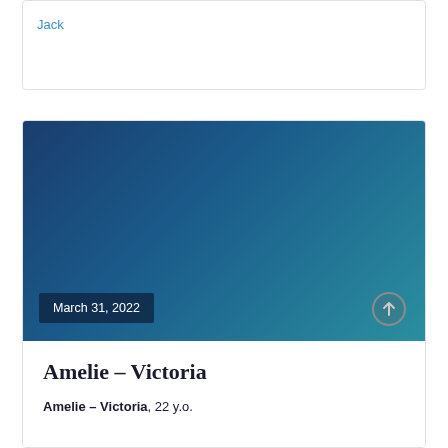Jack
[Figure (illustration): Blue-teal gradient banner image with a date badge 'March 31, 2022' at the bottom left and a circular upload/arrow icon at the bottom right.]
Amelie – Victoria
Amelie – Victoria, 22 y.o.